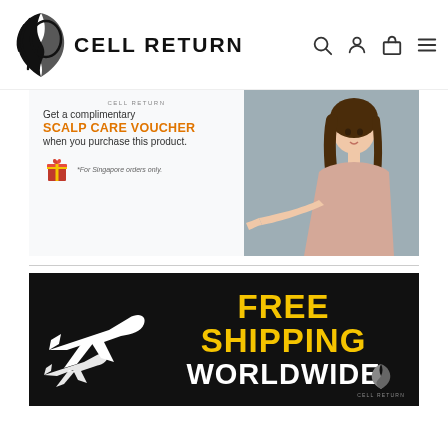CELL RETURN
[Figure (screenshot): Promotional banner: Get a complimentary SCALP CARE VOUCHER when you purchase this product. *For Singapore orders only. Shows woman in pink on grey background.]
[Figure (infographic): Free Shipping Worldwide banner with airplane silhouette on black background and Cell Return logo.]